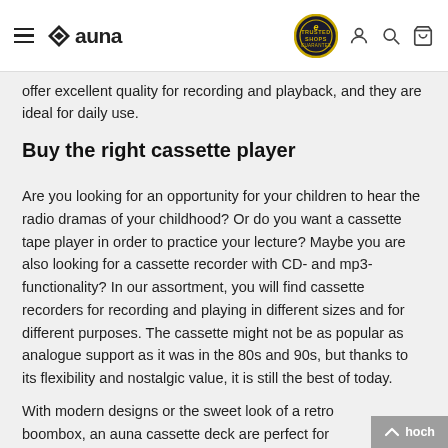auna (logo with hamburger menu, trusted shop badge, user icon, search icon, cart icon)
offer excellent quality for recording and playback, and they are ideal for daily use.
Buy the right cassette player
Are you looking for an opportunity for your children to hear the radio dramas of your childhood? Or do you want a cassette tape player in order to practice your lecture? Maybe you are also looking for a cassette recorder with CD- and mp3-functionality? In our assortment, you will find cassette recorders for recording and playing in different sizes and for different purposes. The cassette might not be as popular as analogue support as it was in the 80s and 90s, but thanks to its flexibility and nostalgic value, it is still the best of today.
With modern designs or the sweet look of a retro boombox, an auna cassette deck are perfect for bringing